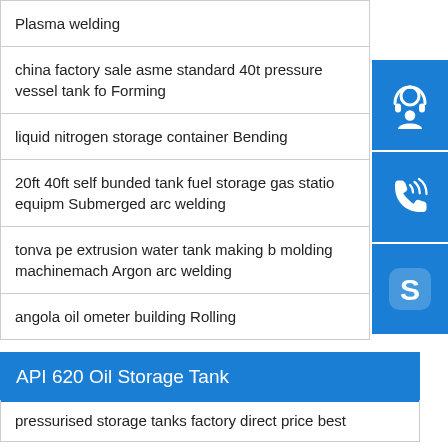Plasma welding
china factory sale asme standard 40t pressure vessel tank fo Forming
liquid nitrogen storage container Bending
20ft 40ft self bunded tank fuel storage gas station equipm Submerged arc welding
tonva pe extrusion water tank making b molding machinemach Argon arc welding
angola oil ometer building Rolling
API 620 Oil Storage Tank
pressurised storage tanks factory direct price best